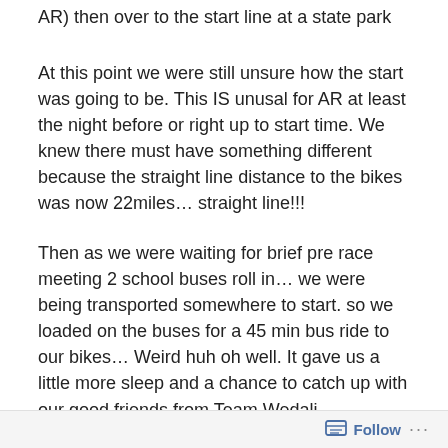AR) then over to the start line at a state park
At this point we were still unsure how the start was going to be. This IS unusal for AR at least the night before or right up to start time. We knew there must have something different because the straight line distance to the bikes was now 22miles… straight line!!!
Then as we were waiting for brief pre race meeting 2 school buses roll in… we were being transported somewhere to start. so we loaded on the buses for a 45 min bus ride to our bikes… Weird huh oh well. It gave us a little more sleep and a chance to catch up with our good friends from Team Wedali (Minnesota) who were also our biggest rivals in this race. But still good friends.
Race started with a big Mtn bike ride up over a mountain